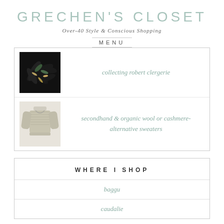GRECHEN'S CLOSET
Over-40 Style & Conscious Shopping
MENU
[Figure (photo): Dark cluster of Robert Clergerie shoes/sandals with green and metallic accents, viewed from above on a white background]
collecting robert clergerie
[Figure (photo): Light-colored knit cardigan sweater on a mannequin, soft beige/taupe color, long sleeves]
secondhand & organic wool or cashmere-alternative sweaters
WHERE I SHOP
baggu
caudalie